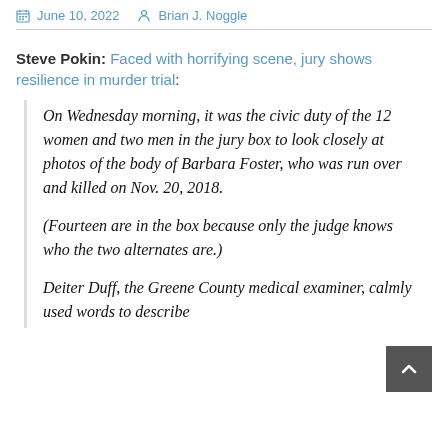June 10, 2022   Brian J. Noggle
Steve Pokin: Faced with horrifying scene, jury shows resilience in murder trial:
On Wednesday morning, it was the civic duty of the 12 women and two men in the jury box to look closely at photos of the body of Barbara Foster, who was run over and killed on Nov. 20, 2018.

(Fourteen are in the box because only the judge knows who the two alternates are.)

Deiter Duff, the Greene County medical examiner, calmly used words to describe